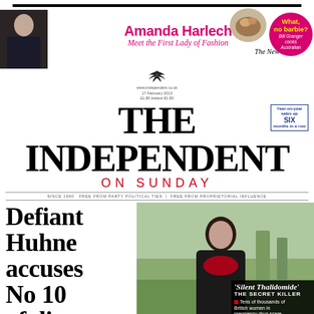[Figure (other): Newspaper front page promo banner with photo of Amanda Harlech, eagle masthead, 'The New Review' text, circular food photo, and pink 'What, no barbie?' circle]
THE INDEPENDENT ON SUNDAY
SINCE 1990 FREE FROM PARTY POLITICAL TIES | FREE FROM PROPRIETORIAL INFLUENCE
Defiant Huhne accuses No 10 of dirty tricks
Exclusive Cameron's press aide
[Figure (photo): Photo of a woman with dark hair wearing a black coat and red scarf, standing outdoors with green grass and trees in background]
'Silent Thalidomide' THE SECRET KILLER Tens of thousands of British women in pregnancy drug scare EXCLUSIVE REPORT 4-5